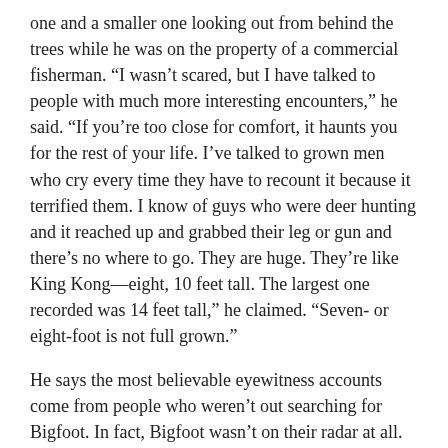one and a smaller one looking out from behind the trees while he was on the property of a commercial fisherman. “I wasn’t scared, but I have talked to people with much more interesting encounters,” he said. “If you’re too close for comfort, it haunts you for the rest of your life. I’ve talked to grown men who cry every time they have to recount it because it terrified them. I know of guys who were deer hunting and it reached up and grabbed their leg or gun and there’s no where to go. They are huge. They’re like King Kong—eight, 10 feet tall. The largest one recorded was 14 feet tall,” he claimed. “Seven- or eight-foot is not full grown.”
He says the most believable eyewitness accounts come from people who weren’t out searching for Bigfoot. In fact, Bigfoot wasn’t on their radar at all. They’d be out hanging clothes or chopping wood and have an encounter. “Those people don’t tell anybody because they’re afraid they’ll be laughed at,” Bakara said. “They come to us and tell us, but